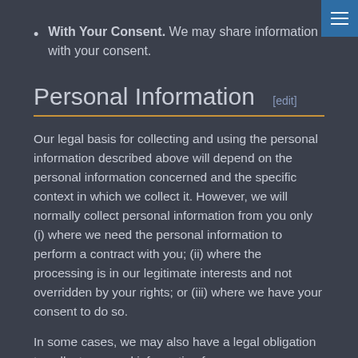With Your Consent. We may share information with your consent.
Personal Information [edit]
Our legal basis for collecting and using the personal information described above will depend on the personal information concerned and the specific context in which we collect it. However, we will normally collect personal information from you only (i) where we need the personal information to perform a contract with you; (ii) where the processing is in our legitimate interests and not overridden by your rights; or (iii) where we have your consent to do so.
In some cases, we may also have a legal obligation to collect personal information from you or may otherwise